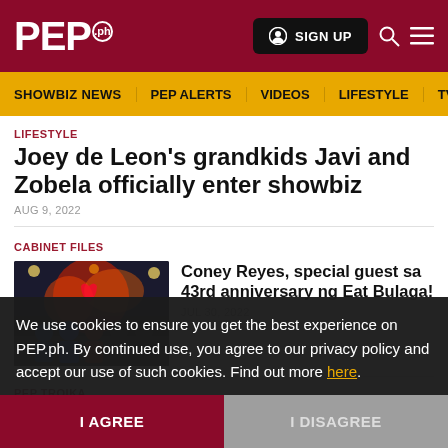PEP.ph — SIGN UP
SHOWBIZ NEWS | PEP ALERTS | VIDEOS | LIFESTYLE | TV & MOVIE
LIFESTYLE
Joey de Leon's grandkids Javi and Zobela officially enter showbiz
AUG 9, 2022
CABINET FILES
[Figure (photo): Photo of performers on stage at Eat Bulaga 43rd anniversary]
Coney Reyes, special guest sa 43rd anniversary ng Eat Bulaga!
JUL 30, 2022
PEP TROIKA
We use cookies to ensure you get the best experience on PEP.ph. By continued use, you agree to our privacy policy and accept our use of such cookies. Find out more here.
I AGREE
I DISAGREE